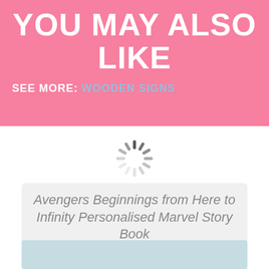YOU MAY ALSO LIKE
SEE MORE: WOODEN SIGNS
[Figure (other): Loading spinner icon (circular dashes radiating from center)]
Avengers Beginnings from Here to Infinity Personalised Marvel Story Book
[Figure (photo): Thumbnail of a book product image on a light teal background]